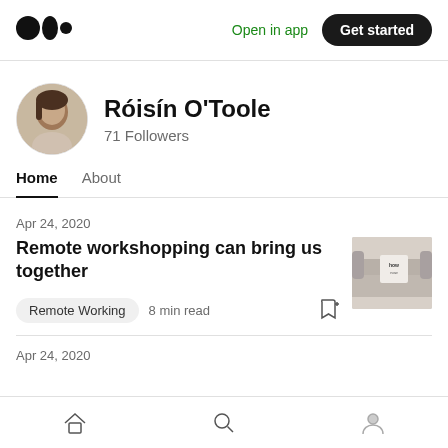[Figure (logo): Medium logo (three circles)]
Open in app
Get started
Róisín O'Toole
71 Followers
Home
About
Apr 24, 2020
Remote workshopping can bring us together
Remote Working  8 min read
[Figure (photo): Thumbnail image of a couch with a decorative pillow]
Apr 24, 2020